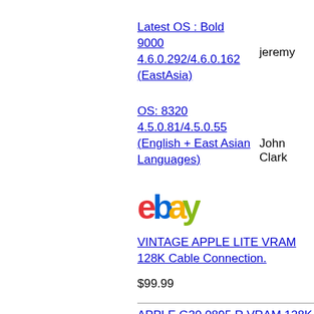Latest OS : Bold 9000 4.6.0.292/4.6.0.162 (EastAsia)
jeremy
OS: 8320 4.5.0.81/4.5.0.55 (English + East Asian Languages)
John Clark
[Figure (logo): eBay logo in red, blue, yellow, and green lettering]
VINTAGE APPLE LITE VRAM 128K Cable Connection.
$99.99
APPLE G20 0895 R VRAM 128K X 8...